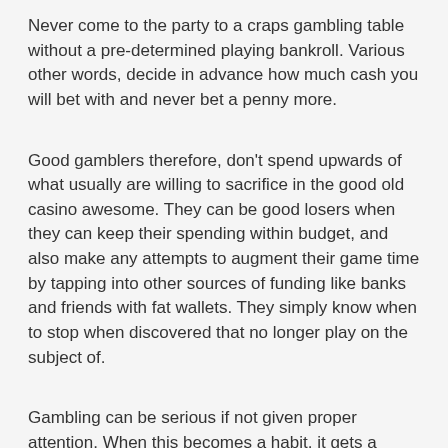Never come to the party to a craps gambling table without a pre-determined playing bankroll. Various other words, decide in advance how much cash you will bet with and never bet a penny more.
Good gamblers therefore, don't spend upwards of what usually are willing to sacrifice in the good old casino awesome. They can be good losers when they can keep their spending within budget, and also make any attempts to augment their game time by tapping into other sources of funding like banks and friends with fat wallets. They simply know when to stop when discovered that no longer play on the subject of.
Gambling can be serious if not given proper attention. When this becomes a habit, it gets a